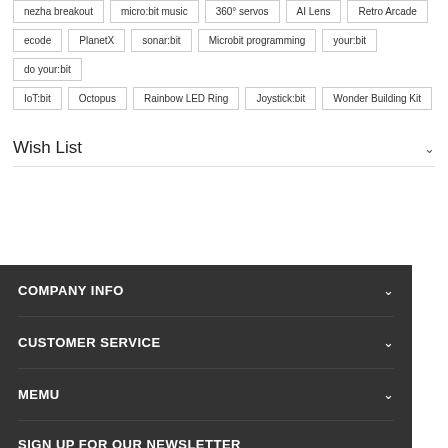nezha breakout
micro:bit music
360° servos
AI Lens
Retro Arcade
ecode
PlanetX
sonar:bit
Microbit programming
your:bit
do your:bit
IoT:bit
Octopus
Rainbow LED Ring
Joystick:bit
Wonder Building Kit
Wish List
COMPANY INFO
CUSTOMER SERVICE
MEMU
SIGN UP FOR OUR NEWSLETTER